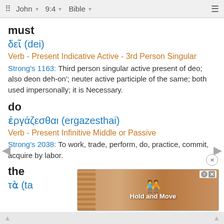John 9:4 — Bible
must
δεῖ (dei)
Verb - Present Indicative Active - 3rd Person Singular
Strong's 1163: Third person singular active present of deo; also deon deh-on'; neuter active participle of the same; both used impersonally; it is Necessary.
do
ἐργάζεσθαι (ergazesthai)
Verb - Present Infinitive Middle or Passive
Strong's 2038: To work, trade, perform, do, practice, commit, acquire by labor.
the
τὰ (ta